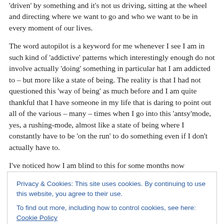'driven' by something and it's not us driving, sitting at the wheel and directing where we want to go and who we want to be in every moment of our lives.
The word autopilot is a keyword for me whenever I see I am in such kind of 'addictive' patterns which interestingly enough do not involve actually 'doing' something in particular hat I am addicted to – but more like a state of being. The reality is that I had not questioned this 'way of being' as much before and I am quite thankful that I have someone in my life that is daring to point out all of the various – many – times when I go into this 'antsy'mode, yes, a rushing-mode, almost like a state of being where I constantly have to be 'on the run' to do something even if I don't actually have to.
I've noticed how I am blind to this for some months now
Privacy & Cookies: This site uses cookies. By continuing to use this website, you agree to their use.
To find out more, including how to control cookies, see here: Cookie Policy
accurate, efficient, etc. Nothing wrong with those words